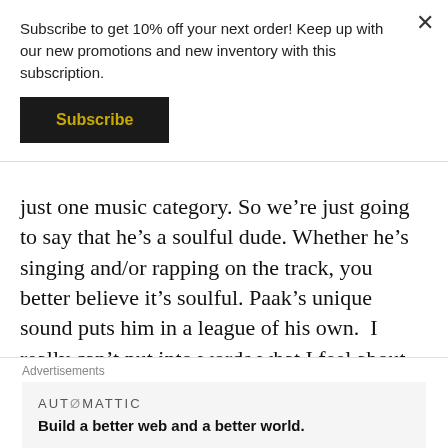Subscribe to get 10% off your next order! Keep up with our new promotions and new inventory with this subscription.
Subscribe
just one music category. So we’re just going to say that he’s a soulful dude. Whether he’s singing and/or rapping on the track, you better believe it’s soulful. Paak’s unique sound puts him in a league of his own.  I really can’t put into words what I feel about Anderson Paak. Just know that he’s a must listen! His latest album “Malibu” has a song for every mood that you’re in. Some of my favorites include “The Bird,” “The Waters,” “Heart
Advertisements
AUTØMATTIC
Build a better web and a better world.